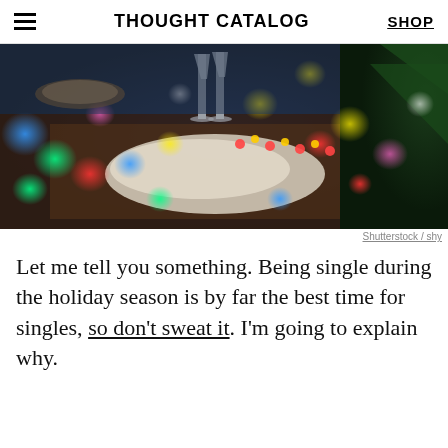THOUGHT CATALOG | SHOP
[Figure (photo): Christmas dinner table with bokeh colorful lights, champagne flutes, and holiday decorations with Christmas tree in background]
Shutterstock / shy
Let me tell you something. Being single during the holiday season is by far the best time for singles, so don't sweat it. I'm going to explain why.